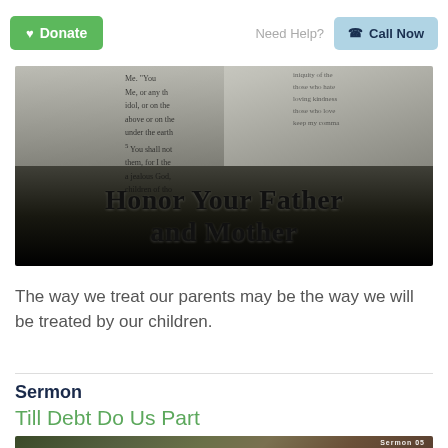Donate | Need Help? | Call Now
[Figure (photo): Open Bible with text pages visible, overlaid with bold serif text reading 'Honor Your Father and Mother']
The way we treat our parents may be the way we will be treated by our children.
Sermon
Till Debt Do Us Part
[Figure (photo): Blurred outdoor background with 'Sermon 05' text overlay in bottom right corner]